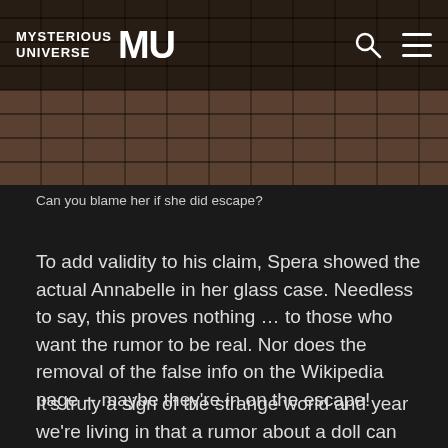[Figure (photo): A dark outdoor scene showing worn brick/stone paving from above, with some dried grass or straw visible. Mysterious Universe logo and navigation bar overlay the top portion of the image.]
Can you blame her if she did escape?
To add validity to his claim, Spera showed the actual Annabelle in her glass case. Needless to say, this proves nothing … to those who want the rumor to be real. Nor does the removal of the false info on the Wikipedia page -- maybe they're in on the escape!
It's truly a sign of the strange world and year we're living in that a rumor about a doll can generate such attention and bring real news to a